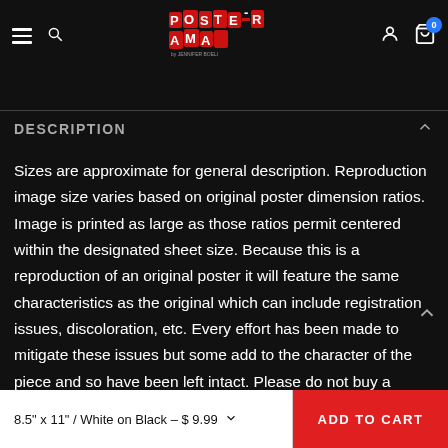Poster-Rama [navigation header with hamburger menu, search, logo, user icon, cart (0)]
DESCRIPTION
Sizes are approximate for general description. Reproduction image size varies based on original poster dimension ratios. Image is printed as large as those ratios permit centered within the designated sheet size. Because this is a reproduction of an original poster it will feature the same characteristics as the original which can include registration issues, discoloration, etc. Every effort has been made to mitigate these issues but some add to the character of the piece and so have been left intact. Please do not buy a frame until you have received your poster as
8.5" x 11" / White on Black – $ 9.99   ADD TO CART